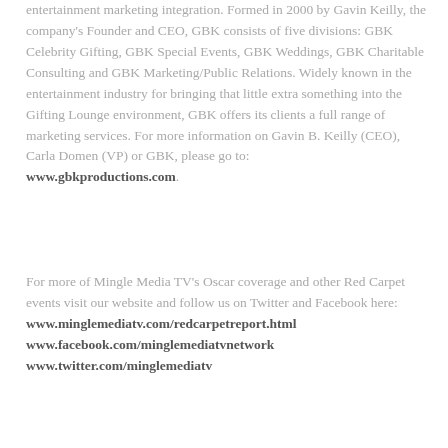entertainment marketing integration. Formed in 2000 by Gavin Keilly, the company's Founder and CEO, GBK consists of five divisions: GBK Celebrity Gifting, GBK Special Events, GBK Weddings, GBK Charitable Consulting and GBK Marketing/Public Relations. Widely known in the entertainment industry for bringing that little extra something into the Gifting Lounge environment, GBK offers its clients a full range of marketing services. For more information on Gavin B. Keilly (CEO), Carla Domen (VP) or GBK, please go to: www.gbkproductions.com.
For more of Mingle Media TV's Oscar coverage and other Red Carpet events visit our website and follow us on Twitter and Facebook here: www.minglemediatv.com/redcarpetreport.html www.facebook.com/minglemediatvnetwork www.twitter.com/minglemediatv